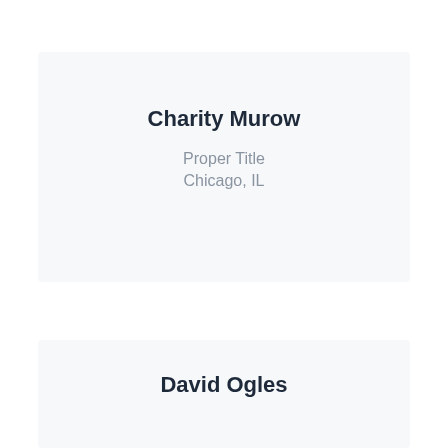Charity Murow
Proper Title
Chicago, IL
David Ogles